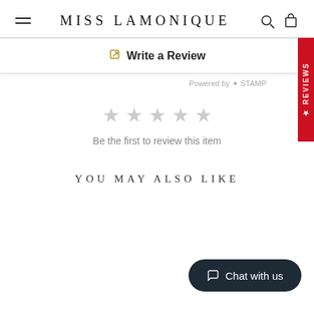MISS LAMONIQUE
Write a Review
Powered by STAMPED
[Figure (other): Five empty grey star rating icons]
Be the first to review this item
YOU MAY ALSO LIKE
Chat with us